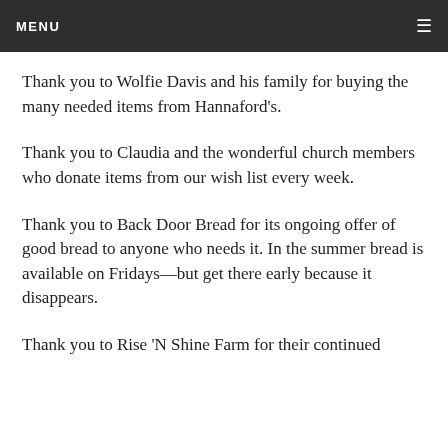MENU
Thank you to Wolfie Davis and his family for buying the many needed items from Hannaford’s.
Thank you to Claudia and the wonderful church members who donate items from our wish list every week.
Thank you to Back Door Bread for its ongoing offer of good bread to anyone who needs it. In the summer bread is available on Fridays—but get there early because it disappears.
Thank you to Rise ‘N Shine Farm for their continued